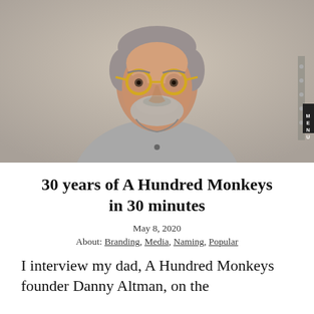[Figure (photo): Portrait photo of an older man with yellow/amber round glasses, short grey hair, grey beard stubble, wearing a grey henley long-sleeve shirt, standing against a light beige/tan wall.]
30 years of A Hundred Monkeys in 30 minutes
May 8, 2020
About: Branding, Media, Naming, Popular
I interview my dad, A Hundred Monkeys founder Danny Altman, on the